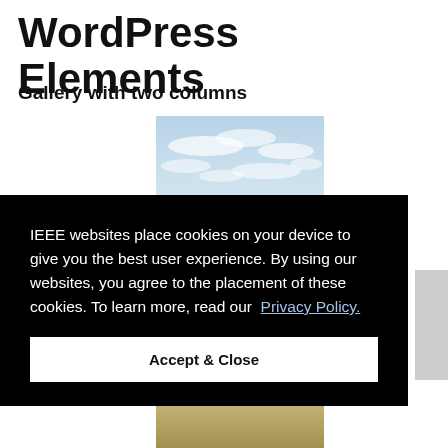WordPress Elements
Gallery with two columns
[Figure (photo): Outdoor photo showing sky with clouds and a tree silhouette at the bottom]
IEEE websites place cookies on your device to give you the best user experience. By using our websites, you agree to the placement of these cookies. To learn more, read our Privacy Policy.
Accept & Close
[Figure (photo): Partial outdoor photo at bottom of page]